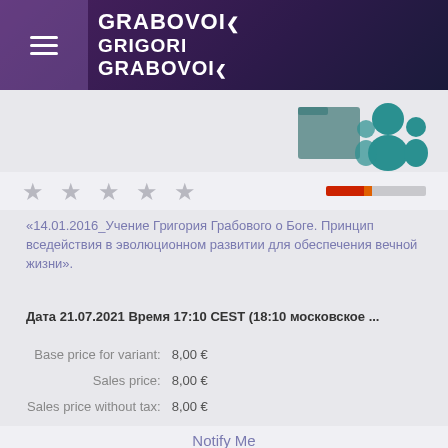GRABOVOI GRIGORI GRABOVOI
[Figure (illustration): Teal figures/people icon with file/document graphic]
[Figure (infographic): Five grey star rating icons with red/orange/grey rating bar on the right]
«14.01.2016_Учение Григория Грабового о Боге. Принцип вседействия в эволюционном развитии для обеспечения вечной жизни».
Дата 21.07.2021 Время 17:10 CEST (18:10 московское ...
| Base price for variant: | 8,00 € |
| Sales price: | 8,00 € |
| Sales price without tax: | 8,00 € |
Notify Me
Product details
[Figure (illustration): Video play button icon with teal circle play arrow and people figure below]